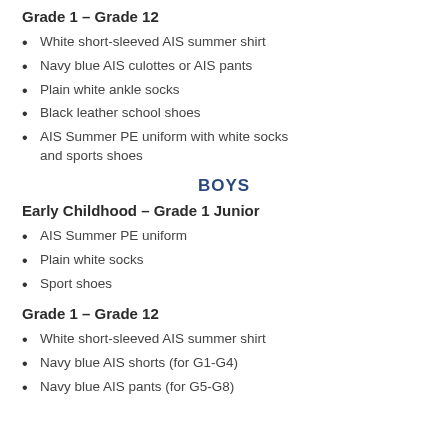Grade 1 – Grade 12
White short-sleeved AIS summer shirt
Navy blue AIS culottes or AIS pants
Plain white ankle socks
Black leather school shoes
AIS Summer PE uniform with white socks and sports shoes
BOYS
Early Childhood – Grade 1 Junior
AIS Summer PE uniform
Plain white socks
Sport shoes
Grade 1 – Grade 12
White short-sleeved AIS summer shirt
Navy blue AIS shorts (for G1-G4)
Navy blue AIS pants (for G5-G8)